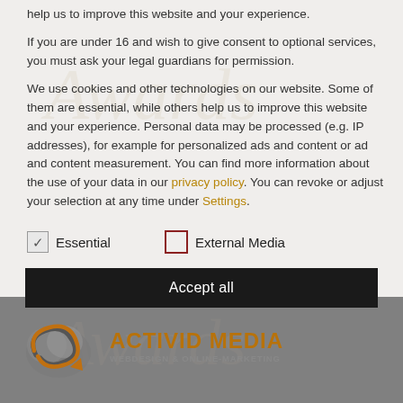help us to improve this website and your experience.
If you are under 16 and wish to give consent to optional services, you must ask your legal guardians for permission.
We use cookies and other technologies on our website. Some of them are essential, while others help us to improve this website and your experience. Personal data may be processed (e.g. IP addresses), for example for personalized ads and content or ad and content measurement. You can find more information about the use of your data in our privacy policy. You can revoke or adjust your selection at any time under Settings.
Essential (checked)
External Media (unchecked)
Accept all
[Figure (logo): Activid Media Webdesign & Online-Marketing logo with spiral arrow graphic]